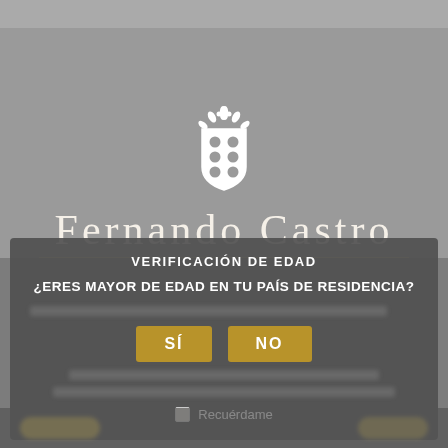[Figure (logo): Fernando Castro winery coat of arms — white heraldic shield with circular dots and botanical crown, on gray background]
FERNANDO CASTRO
VERIFICACIÓN DE EDAD
¿ERES MAYOR DE EDAD EN TU PAÍS DE RESIDENCIA?
SÍ  NO
Recuérdame